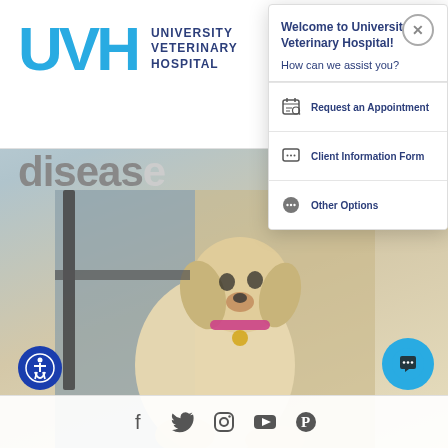[Figure (screenshot): University Veterinary Hospital website screenshot with a chat popup overlay. The page shows the UVH logo at top left, partially visible text 'disease', a photo of a small white dog, a chat widget popup with welcome message and menu options (Request an Appointment, Client Information Form, Other Options), social media icons at the bottom, an accessibility button, and a chat bubble button.]